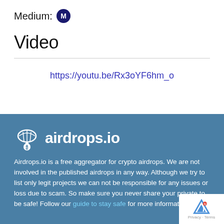Medium: [M icon]
Video
https://youtu.be/Rx3oYF6hm_o
[Figure (logo): airdrops.io logo with parachute and bitcoin symbol]
Airdrops.io is a free aggregator for crypto airdrops. We are not involved in the published airdrops in any way. Although we try to list only legit projects we can not be responsible for any issues or loss due to scam. So make sure you never share your private to be safe! Follow our guide to stay safe for more information.